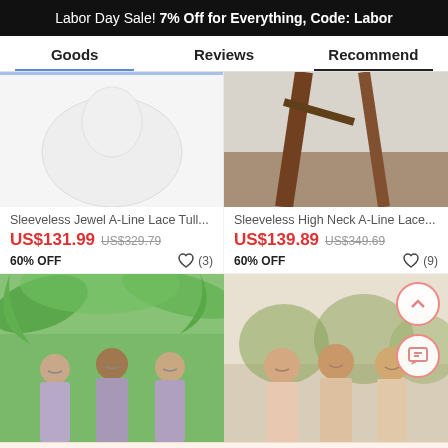Labor Day Sale! 7% Off for Everything, Code: Labor
Goods | Reviews | Recommend
Sleeveless Jewel A-Line Lace Tull...
US$131.99  US$329.79  60% OFF  (3)
Sleeveless High Neck A-Line Lace...
US$139.89  US$349.69  60% OFF  (9)
[Figure (photo): Two product listing photos: left shows a partial white dress product image, right shows an outdoor scene with wood/nature background for a lace dress]
[Figure (photo): Two product listing photos: left shows three bridesmaids in purple/lavender halter dresses outdoors with tropical greenery, right shows three women in light pink/nude dresses outdoors]
Get $5 off for your first order!
CLAIM NOW
ADD TO BAG